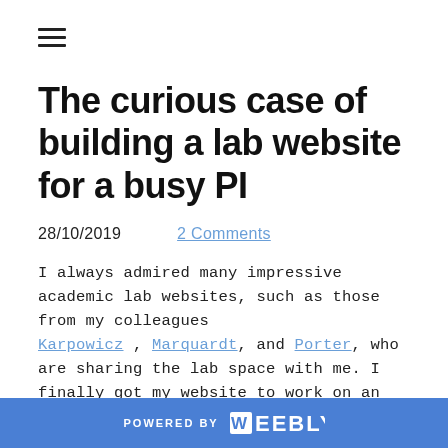The curious case of building a lab website for a busy PI
28/10/2019     2 Comments
I always admired many impressive academic lab websites, such as those from my colleagues Karpowicz , Marquardt , and Porter , who are sharing the lab space with me. I finally got my website to work on an independent domain
POWERED BY weebly